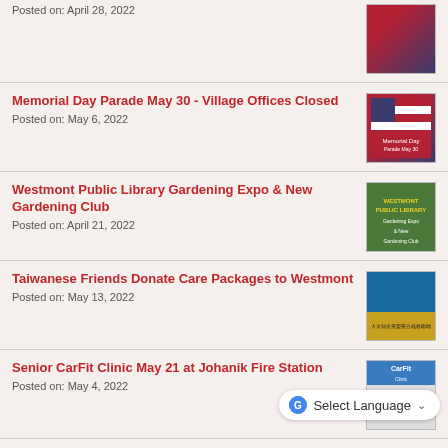Posted on: April 28, 2022
[Figure (photo): Flag-related event image thumbnail]
Memorial Day Parade May 30 - Village Offices Closed
Posted on: May 6, 2022
[Figure (photo): Memorial Day Parade May 30 10:30am flyer thumbnail]
Westmont Public Library Gardening Expo & New Gardening Club
Posted on: April 21, 2022
[Figure (photo): Westmont Public Library Gardening Expo event flyer thumbnail]
Taiwanese Friends Donate Care Packages to Westmont
Posted on: May 13, 2022
[Figure (photo): Photo of Taiwanese Friends group donating care packages]
Senior CarFit Clinic May 21 at Johanik Fire Station
Posted on: May 4, 2022
[Figure (photo): CarFit Clinic flyer thumbnail]
Westmont Public Works Open House May 21
[Figure (photo): Words Open House event thumbnail]